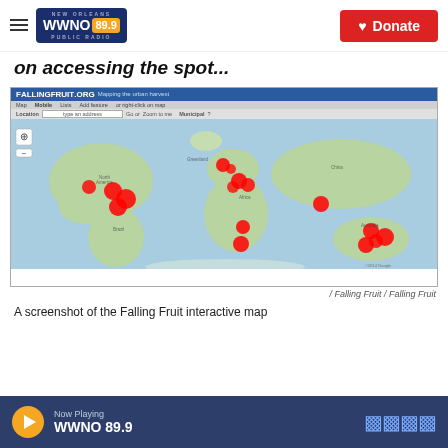WWNO 89.9 New Orleans Public Radio — Donate
on accessing the spot...
[Figure (screenshot): Screenshot of the FallingFruit.org interactive world map showing red cluster markers of urban foraging locations across North America, Europe, Africa, South Asia, and Australia]
/ Falling Fruit / Falling Fruit
A screenshot of the Falling Fruit interactive map
Now Playing WWNO 89.9